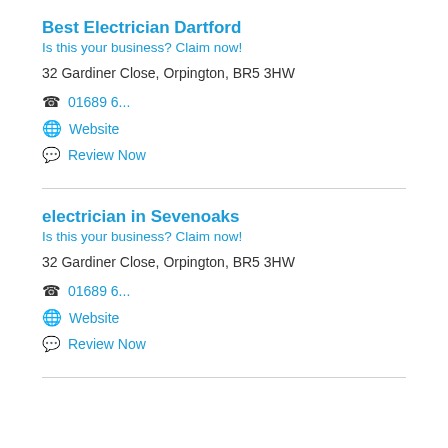Best Electrician Dartford
Is this your business? Claim now!
32 Gardiner Close, Orpington, BR5 3HW
01689 6...
Website
Review Now
electrician in Sevenoaks
Is this your business? Claim now!
32 Gardiner Close, Orpington, BR5 3HW
01689 6...
Website
Review Now